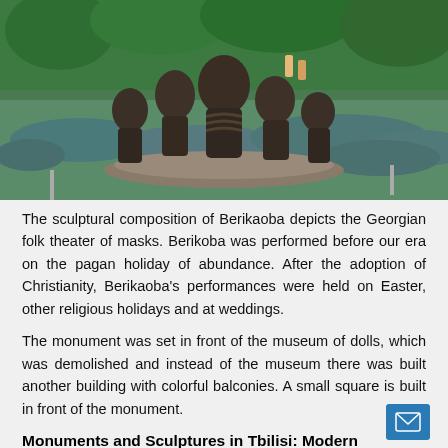[Figure (photo): Outdoor photo of the Berikaoba sculptural composition showing bronze figures of folk theater masks on a circular stone base, surrounded by low blue-green ornamental shrubs and green trees in the background.]
The sculptural composition of Berikaoba depicts the Georgian folk theater of masks. Berikoba was performed before our era on the pagan holiday of abundance. After the adoption of Christianity, Berikaoba's performances were held on Easter, other religious holidays and at weddings.
The monument was set in front of the museum of dolls, which was demolished and instead of the museum there was built another building with colorful balconies. A small square is built in front of the monument.
Monuments and Sculptures in Tbilisi: Modern sculptures in Tbilisi